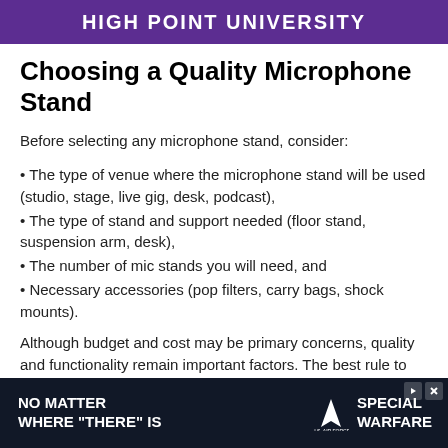High Point University
Choosing a Quality Microphone Stand
Before selecting any microphone stand, consider:
• The type of venue where the microphone stand will be used (studio, stage, live gig, desk, podcast),
• The type of stand and support needed (floor stand, suspension arm, desk),
• The number of mic stands you will need, and
• Necessary accessories (pop filters, carry bags, shock mounts).
Although budget and cost may be primary concerns, quality and functionality remain important factors. The best rule to follow is to purchase the best-quality microphone stand you
[Figure (other): Advertisement banner: 'NO MATTER WHERE "THERE" IS' with U.S. Air Force Special Warfare logo]